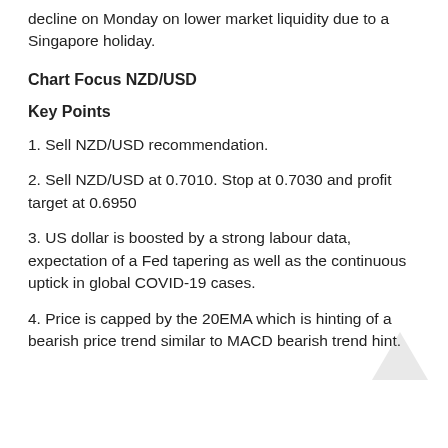decline on Monday on lower market liquidity due to a Singapore holiday.
Chart Focus NZD/USD
Key Points
1. Sell NZD/USD recommendation.
2. Sell NZD/USD at 0.7010. Stop at 0.7030 and profit target at 0.6950
3. US dollar is boosted by a strong labour data, expectation of a Fed tapering as well as the continuous uptick in global COVID-19 cases.
4. Price is capped by the 20EMA which is hinting of a bearish price trend similar to MACD bearish trend hint.